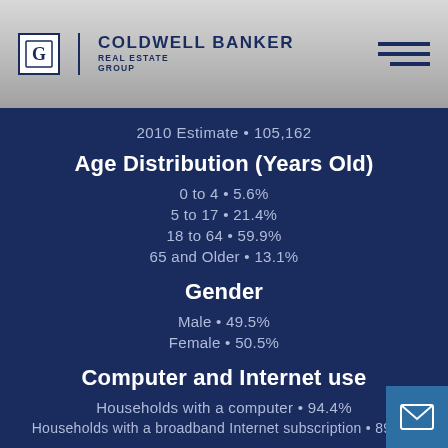[Figure (logo): Coldwell Banker Real Estate Group logo with hamburger menu icon]
2010 Estimate • 105,162
Age Distribution (Years Old)
0 to 4 • 5.6%
5 to 17 • 21.4%
18 to 64 • 59.9%
65 and Older • 13.1%
Gender
Male • 49.5%
Female • 50.5%
Computer and Internet use
Households with a computer • 94.4%
Households with a broadband Internet subscription • 89.1%